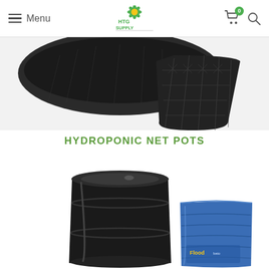Menu | HTG Supply | Cart (0) | Search
[Figure (photo): Partial view of black hydroponic net pots/baskets from above on white/grey background]
HYDROPONIC NET POTS
[Figure (photo): Black plastic barrel/drum with lid alongside a blue collapsible reservoir with Flood brand logo, on white background]